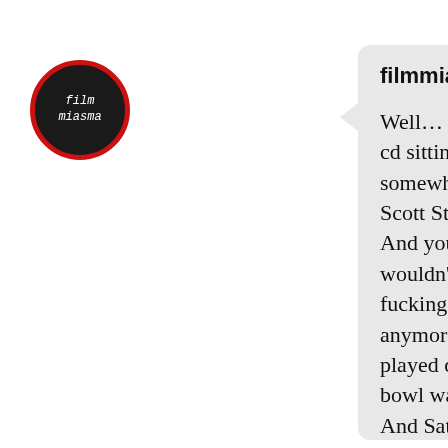[Figure (illustration): Circular avatar with dark background and red border showing text 'film miasma' in white italic script font]
filmmiasma
Well… I still have that cd sitting around here somewhere HA! Stupid Scott Stapp! Hahahaha! And you know me, I wouldn't have the first fucking idea what's new anymore. Whatever they played during the super bowl was horrendous. And Saturday night Li…